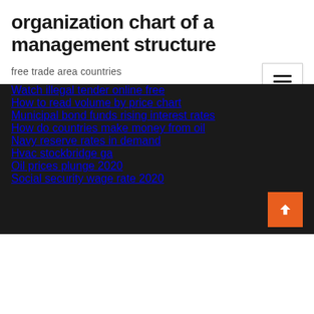organization chart of a management structure
free trade area countries
Watch illegal tender online free
How to read volume by price chart
Municipal bond funds rising interest rates
How do countries make money from oil
Navy reserve rates in demand
Hvac stockbridge ga
Oil prices plunge 2020
Social security wage rate 2020